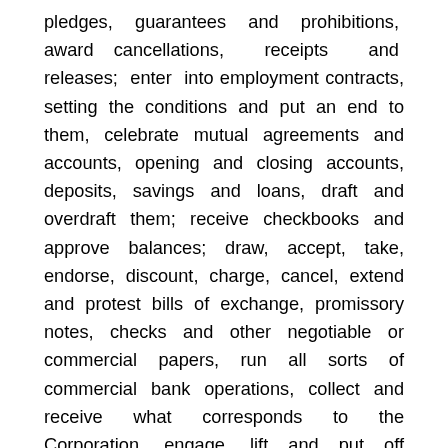pledges, guarantees and prohibitions, award cancellations, receipts and releases; enter into employment contracts, setting the conditions and put an end to them, celebrate mutual agreements and accounts, opening and closing accounts, deposits, savings and loans, draft and overdraft them; receive checkbooks and approve balances; draw, accept, take, endorse, discount, charge, cancel, extend and protest bills of exchange, promissory notes, checks and other negotiable or commercial papers, run all sorts of commercial bank operations, collect and receive what corresponds to the Corporation, engage, lift and put off securities, constitute, modify, extend, dissolve and liquidate companies and communities, attend meetings with voice and vote; grant and revoke powers, special mandates and compromise; accept all kinds of legacies, bequests and donations, buy insurance, pay premiums, to approve settlements of